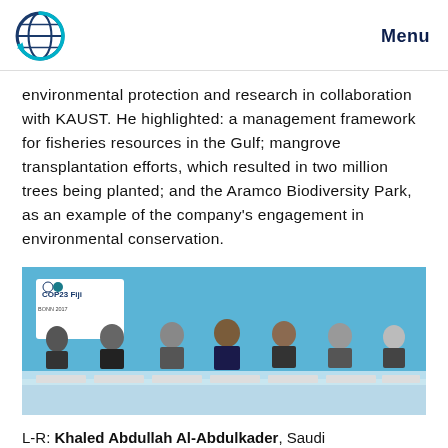Menu
environmental protection and research in collaboration with KAUST. He highlighted: a management framework for fisheries resources in the Gulf; mangrove transplantation efforts, which resulted in two million trees being planted; and the Aramco Biodiversity Park, as an example of the company's engagement in environmental conservation.
[Figure (photo): Seven men seated at a panel table at COP23 Fiji conference in Bonn 2017, against a light blue backdrop with COP23 Fiji logo.]
L-R: Khaled Abdullah Al-Abdulkader, Saudi